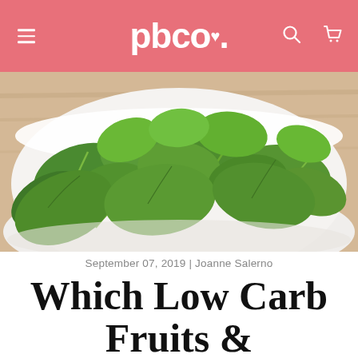pbco.
[Figure (photo): Close-up photo of fresh green watercress leaves in a white bowl on a wooden surface]
September 07, 2019 | Joanne Salerno
Which Low Carb Fruits &